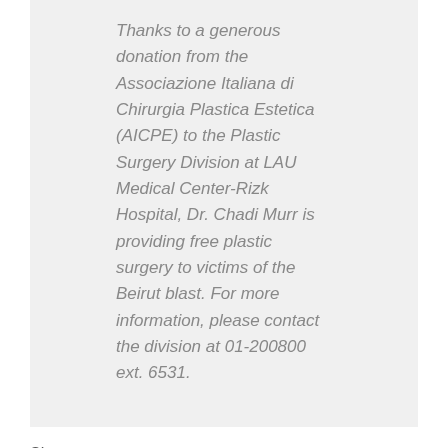Thanks to a generous donation from the Associazione Italiana di Chirurgia Plastica Estetica (AICPE) to the Plastic Surgery Division at LAU Medical Center-Rizk Hospital, Dr. Chadi Murr is providing free plastic surgery to victims of the Beirut blast. For more information, please contact the division at 01-200800 ext. 6531.
Share:
[Figure (illustration): Three circular gray social media share icons: Facebook (f), Twitter (bird), WhatsApp (speech bubble with phone)]